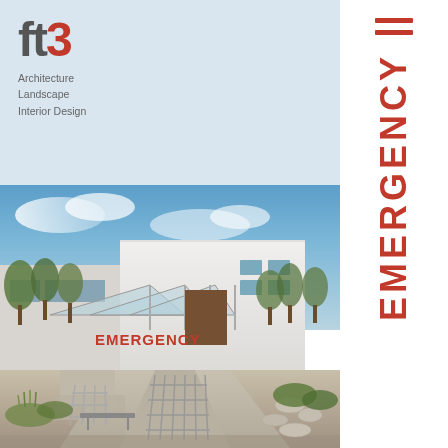[Figure (logo): ft3 architecture firm logo with text 'ft3' and red number 3, with tagline 'Architecture Landscape Interior Design']
[Figure (photo): Exterior photo of a hospital emergency entrance with covered walkway, ramps with railings, landscaping, blue sky, and large red EMERGENCY sign on white modern building facade. A vertical panel on the right side also reads EMERGENCY in red letters.]